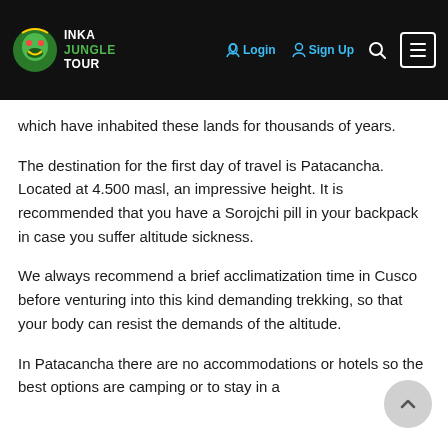Inka Jungle Tour — Login | Sign Up | Search | Menu
which have inhabited these lands for thousands of years.
The destination for the first day of travel is Patacancha. Located at 4.500 masl, an impressive height. It is recommended that you have a Sorojchi pill in your backpack in case you suffer altitude sickness.
We always recommend a brief acclimatization time in Cusco before venturing into this kind demanding trekking, so that your body can resist the demands of the altitude.
In Patacancha there are no accommodations or hotels so the best options are camping or to stay in a family...